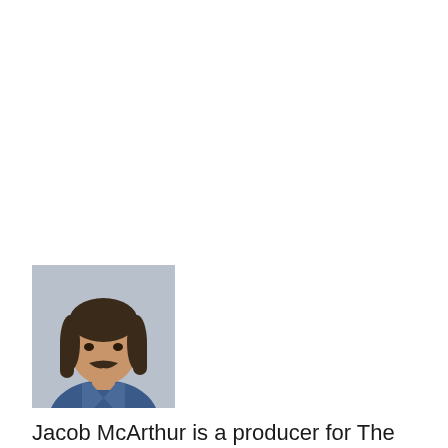[Figure (photo): Headshot photo of Jacob McArthur, a man with dark hair and a mustache wearing a blue shirt, against a light gray background.]
Jacob McArthur is a producer for The Canberra Times. As part of the production team, he helps people in Canberra and beyond get the stories they need, when they need them across a range of platforms, while helping to maintain a high editorial standard